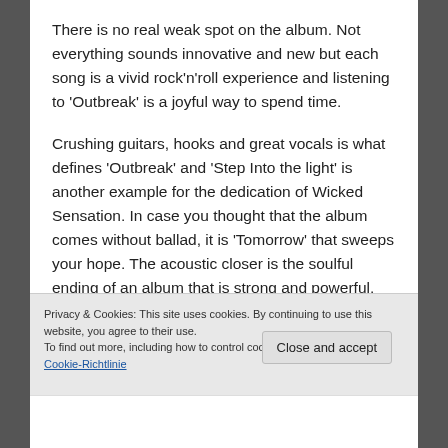There is no real weak spot on the album. Not everything sounds innovative and new but each song is a vivid rock'n'roll experience and listening to 'Outbreak' is a joyful way to spend time.
Crushing guitars, hooks and great vocals is what defines 'Outbreak' and 'Step Into the light' is another example for the dedication of Wicked Sensation. In case you thought that the album comes without ballad, it is 'Tomorrow' that sweeps your hope. The acoustic closer is the soulful ending of an album that is strong and powerful. Wicked Sensation have a good sense for melodies and
Privacy & Cookies: This site uses cookies. By continuing to use this website, you agree to their use.
To find out more, including how to control cookies, see here: Unsere Cookie-Richtlinie
Close and accept